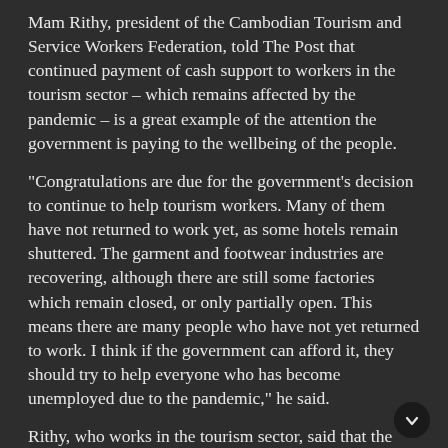Mam Rithy, president of the Cambodian Tourism and Service Workers Federation, told The Post that continued payment of cash support to workers in the tourism sector – which remains affected by the pandemic – is a great example of the attention the government is paying to the wellbeing of the people.
"Congratulations are due for the government's decision to continue to help tourism workers. Many of them have not returned to work yet, as some hotels remain shuttered. The garment and footwear industries are recovering, although there are still some factories which remain closed, or only partially open. This means there are many people who have not yet returned to work. I think if the government can afford it, they should try to help everyone who has become unemployed due to the pandemic," he said.
Rithy, who works in the tourism sector, said that the sector will be affected in the long run should the Covid-19 virus continue to mutate into new variants.
"We do not know whether there will be another level of variants. Other countries seem to be discovering new forms of the virus fairly regularly, so the tourism sector may take five